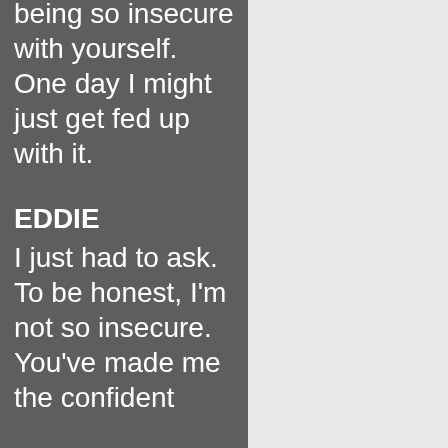being so insecure with yourself. One day I might just get fed up with it.
EDDIE I just had to ask. To be honest, I'm not so insecure. You've made me the confident